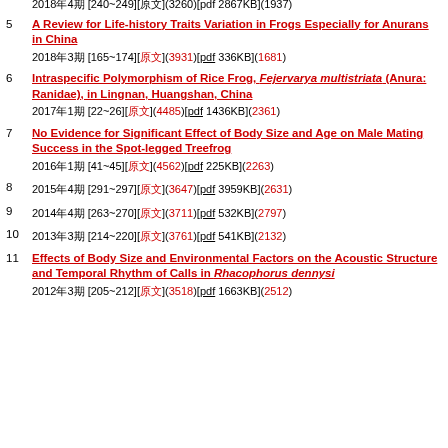2018年4期 [240~249][原文](3260)[pdf 2867KB](1937)
5 A Review for Life-history Traits Variation in Frogs Especially for Anurans in China
2018年3期 [165~174][原文](3931)[pdf 336KB](1681)
6 Intraspecific Polymorphism of Rice Frog, Fejervarya multistriata (Anura: Ranidae), in Lingnan, Huangshan, China
2017年1期 [22~26][原文](4485)[pdf 1436KB](2361)
7 No Evidence for Significant Effect of Body Size and Age on Male Mating Success in the Spot-legged Treefrog
2016年1期 [41~45][原文](4562)[pdf 225KB](2263)
8 2015年4期 [291~297][原文](3647)[pdf 3959KB](2631)
9 2014年4期 [263~270][原文](3711)[pdf 532KB](2797)
10 2013年3期 [214~220][原文](3761)[pdf 541KB](2132)
11 Effects of Body Size and Environmental Factors on the Acoustic Structure and Temporal Rhythm of Calls in Rhacophorus dennysi
2012年3期 [205~212][原文](3518)[pdf 1663KB](2512)